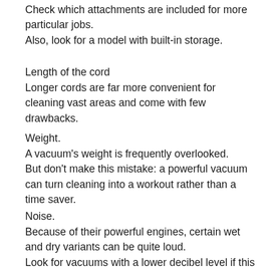Check which attachments are included for more particular jobs. Also, look for a model with built-in storage.
Length of the cord
Longer cords are far more convenient for cleaning vast areas and come with few drawbacks.
Weight.
A vacuum's weight is frequently overlooked. But don't make this mistake: a powerful vacuum can turn cleaning into a workout rather than a time saver.
Noise.
Because of their powerful engines, certain wet and dry variants can be quite loud. Look for vacuums with a lower decibel level if this is